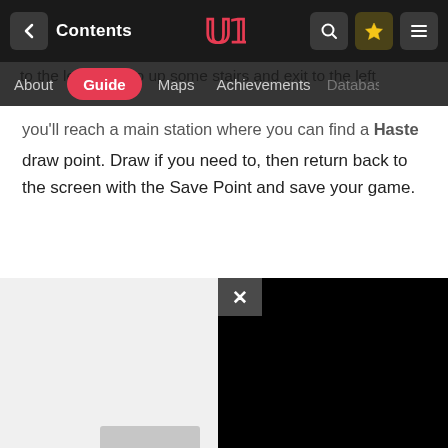Contents | Guide | Maps | Achievements | Database
to the left, then go up some stairs and exit to the left you'll reach a main station where you can find a Maste draw point. Draw if you need to, then return back to the screen with the Save Point and save your game.
[Figure (screenshot): Screenshot of a game guide website with navigation bar showing Contents, Guide, Maps, Achievements, Database tabs. A dark panel overlay with close (X) button appears at the bottom right of the page.]